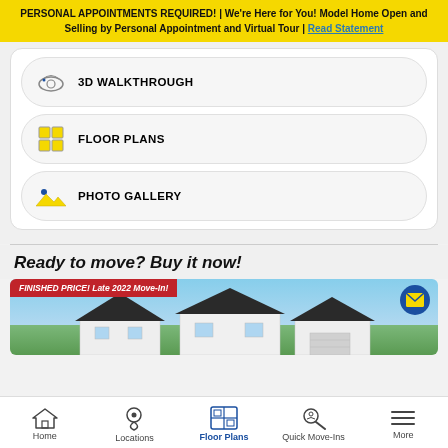PERSONAL APPOINTMENTS REQUIRED! | We're Here for You! Model Home Open and Selling by Personal Appointment and Virtual Tour | Read Statement
3D WALKTHROUGH
FLOOR PLANS
PHOTO GALLERY
Ready to move? Buy it now!
[Figure (photo): House exterior photo with red badge reading 'FINISHED PRICE! Late 2022 Move-In!' and email envelope button]
Home | Locations | Floor Plans | Quick Move-Ins | More